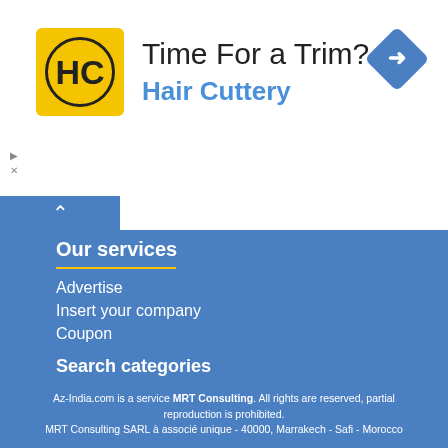[Figure (logo): Hair Cuttery advertisement banner with HC logo on yellow background, 'Time For a Trim?' heading, 'Hair Cuttery' in blue, and a blue navigation diamond icon on the right]
Our services
Advertise
Insert your company
Coupon
Search categories
A B C D E F G H I J K L M N O P Q R S T U V W X Y Z
Az-India.com is a service MRT Consulting. All rights are reserved, partial reproduction is prohibited. MRT Consulting SARL à associé unique - 40000, Marrakech - Safi - Morocco